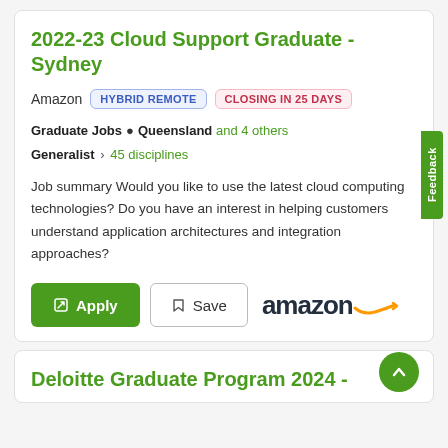2022-23 Cloud Support Graduate - Sydney
Amazon  HYBRID REMOTE  CLOSING IN 25 DAYS
Graduate Jobs • Queensland and 4 others  Generalist › 45 disciplines
Job summary Would you like to use the latest cloud computing technologies? Do you have an interest in helping customers understand application architectures and integration approaches?
Deloitte Graduate Program 2024 -